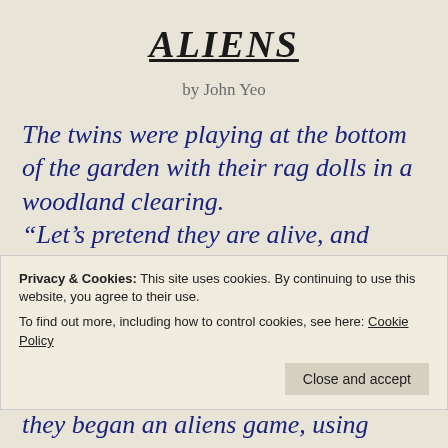ALIENS
by John Yeo
The twins were playing at the bottom of the garden with their rag dolls in a woodland clearing.
“Let’s pretend they are alive, and make a story up Jenny.” Said Jilly excitedly, “I’ll take the two with big eyes and you pretend
Privacy & Cookies: This site uses cookies. By continuing to use this website, you agree to their use.
To find out more, including how to control cookies, see here: Cookie Policy
they began an aliens game, using strange